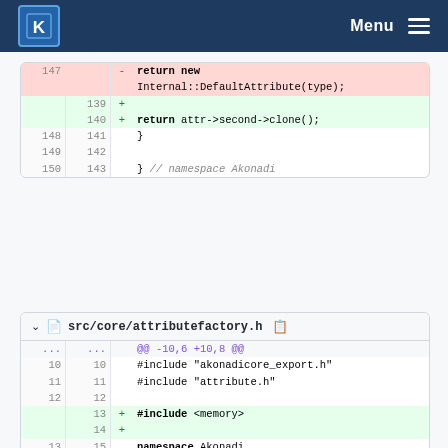KDE Menu
[Figure (screenshot): Code diff panel showing removal of 'return new Internal::DefaultAttribute(type);' (line 147) and addition of blank line (139) and 'return attr->second->clone();' (line 140), followed by unchanged lines 148-150 / 141-143 including closing brace and namespace comment.]
[Figure (screenshot): Code diff panel for src/core/attributefactory.h showing hunk @@ -10,6 +10,8 @@, unchanged #include lines 10-12, added '#include <memory>' at line 13, added blank line 14, unchanged namespace and brace lines 13-17, and partial hunk @@ -47,7 +49,8 @@ public:]